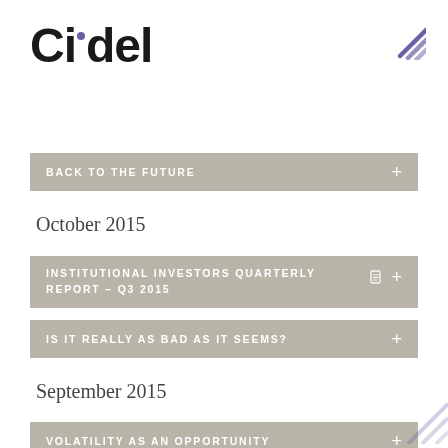Cidel
BACK TO THE FUTURE
October 2015
INSTITUTIONAL INVESTORS QUARTERLY REPORT – Q3 2015
IS IT REALLY AS BAD AS IT SEEMS?
September 2015
VOLATILITY AS AN OPPORTUNITY
CRUDE MARKET THOUGHTS
August 2015
THE GEOPOLITICS OF OIL